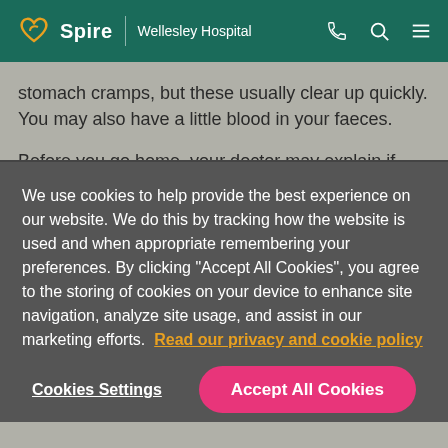Spire | Wellesley Hospital
stomach cramps, but these usually clear up quickly. You may also have a little blood in your faeces.
Before you go home, your doctor may explain if they found anything inside your bowel during the procedure. If you have had a biopsy or polyps removed, the results will be ready in a few days. You may be given a date for a follow-
We use cookies to help provide the best experience on our website. We do this by tracking how the website is used and when appropriate remembering your preferences. By clicking "Accept All Cookies", you agree to the storing of cookies on your device to enhance site navigation, analyze site usage, and assist in our marketing efforts. Read our privacy and cookie policy
Cookies Settings
Accept All Cookies